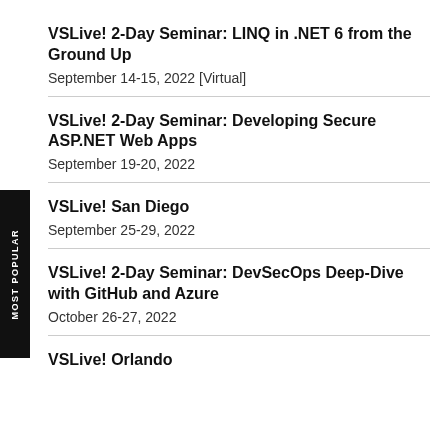VSLive! 2-Day Seminar: LINQ in .NET 6 from the Ground Up
September 14-15, 2022 [Virtual]
VSLive! 2-Day Seminar: Developing Secure ASP.NET Web Apps
September 19-20, 2022
VSLive! San Diego
September 25-29, 2022
VSLive! 2-Day Seminar: DevSecOps Deep-Dive with GitHub and Azure
October 26-27, 2022
VSLive! Orlando